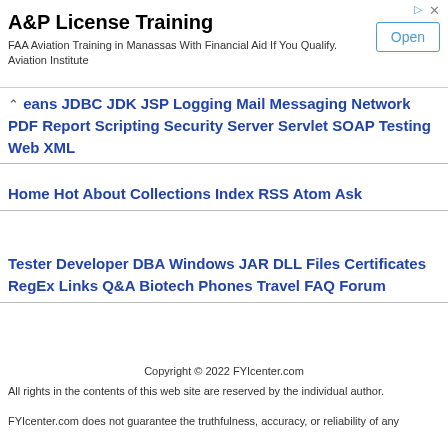[Figure (screenshot): Advertisement banner for A&P License Training. Title: 'A&P License Training'. Description: 'FAA Aviation Training in Manassas With Financial Aid If You Qualify. Aviation Institute'. Button: 'Open'.]
eans JDBC JDK JSP Logging Mail Messaging Network PDF Report Scripting Security Server Servlet SOAP Testing Web XML
Home Hot About Collections Index RSS Atom Ask
Tester Developer DBA Windows JAR DLL Files Certificates RegEx Links Q&A Biotech Phones Travel FAQ Forum
Copyright © 2022 FYIcenter.com
All rights in the contents of this web site are reserved by the individual author.
FYIcenter.com does not guarantee the truthfulness, accuracy, or reliability of any